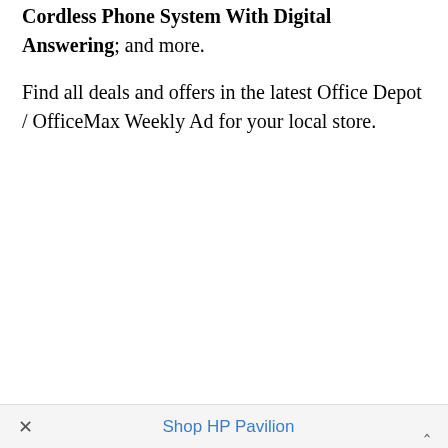Cordless Phone System With Digital Answering; and more.
Find all deals and offers in the latest Office Depot / OfficeMax Weekly Ad for your local store.
× Shop HP Pavilion ^